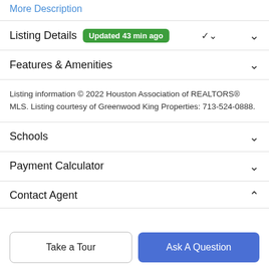More Description
Listing Details  Updated 43 min ago
Features & Amenities
Listing information © 2022 Houston Association of REALTORS® MLS. Listing courtesy of Greenwood King Properties: 713-524-0888.
Schools
Payment Calculator
Contact Agent
Take a Tour
Ask A Question